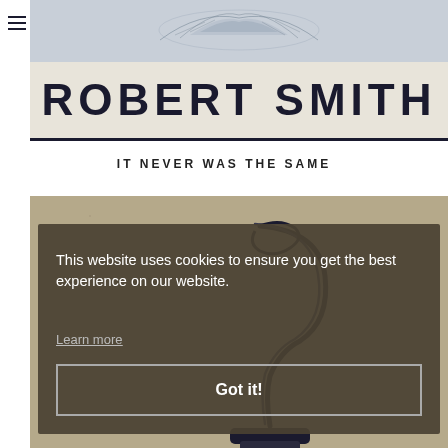[Figure (illustration): Header illustration with bird/eagle engraving on grey-blue background, vintage style]
ROBERT SMITH
IT NEVER WAS THE SAME
[Figure (screenshot): Cookie consent overlay on website showing tool/corkscrew illustration on brownish background with dark overlay panel]
This website uses cookies to ensure you get the best experience on our website.
Learn more
Got it!